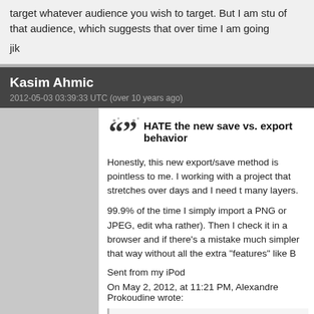target whatever audience you wish to target. But I am stu... of that audience, which suggests that over time I am going...
jik
Kasim Ahmic
2012-05-03 03:39:33 UTC (over 10 years ago)
HATE the new save vs. export behavior
Honestly, this new export/save method is pointless to me. I... working with a project that stretches over days and I need t... many layers.
99.9% of the time I simply import a PNG or JPEG, edit wha... rather). Then I check it in a browser and if there's a mistake... much simpler that way without all the extra "features" like B...
Sent from my iPod
On May 2, 2012, at 11:21 PM, Alexandre Prokoudine wrote:
On Thu, May 3, 2012 at 7:14 AM, Kasim Ahmic wrote:
I was just thinking like a toggle in the Preferences or...